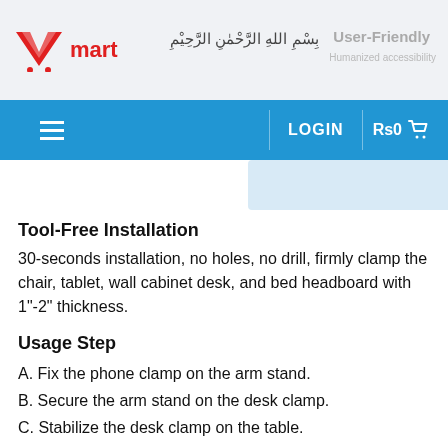[Figure (screenshot): Ymart e-commerce website header with logo, Arabic text, and navigation bar with LOGIN and Rs0 cart button]
Tool-Free Installation
30-seconds installation, no holes, no drill, firmly clamp the chair, tablet, wall cabinet desk, and bed headboard with 1"-2" thickness.
Usage Step
A. Fix the phone clamp on the arm stand.
B. Secure the arm stand on the desk clamp.
C. Stabilize the desk clamp on the table.
D. Put your phone or tablet on the holder.